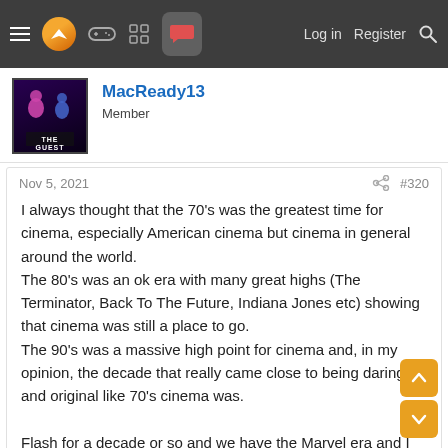Navigation bar with menu, logo, gaming, grid, chat icons, Log in, Register, Search
MacReady13
Member
Nov 5, 2021  #320
I always thought that the 70's was the greatest time for cinema, especially American cinema but cinema in general around the world.
The 80's was an ok era with many great highs (The Terminator, Back To The Future, Indiana Jones etc) showing that cinema was still a place to go.
The 90's was a massive high point for cinema and, in my opinion, the decade that really came close to being daring and original like 70's cinema was.

Flash for a decade or so and we have the Marvel era and I honestly don't remember a time cinema was so fucking BAD! Mind you, I loved Marvel (and DC) as a kid. These films (and the shit they have "inspired") have completely ruined cinema